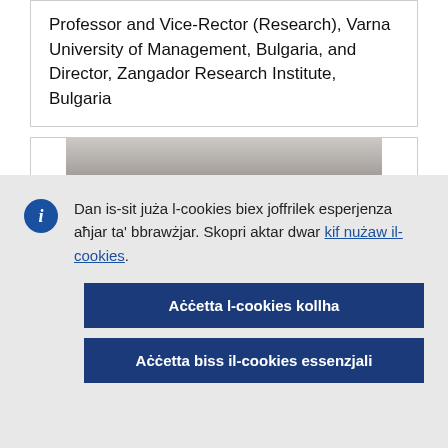Professor and Vice-Rector (Research), Varna University of Management, Bulgaria, and Director, Zangador Research Institute, Bulgaria
[Figure (photo): Partial head/portrait photo of a person, cropped to show top of head]
Dan is-sit juża l-cookies biex joffrilek esperjenza aħjar ta' bbrawżjar. Skopri aktar dwar kif nużaw il-cookies.
Aċċetta l-cookies kollha
Aċċetta biss il-cookies essenzjali